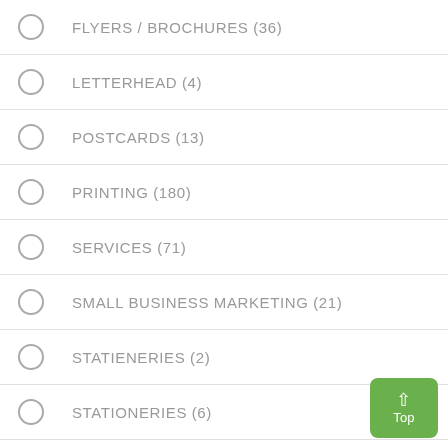FLYERS / BROCHURES (36)
LETTERHEAD (4)
POSTCARDS (13)
PRINTING (180)
SERVICES (71)
SMALL BUSINESS MARKETING (21)
STATIENERIES (2)
STATIONERIES (6)